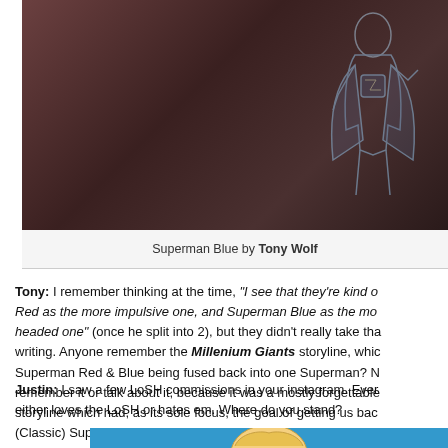[Figure (illustration): Superman Blue artwork by Tony Wolf — a sketch/drawing of Superman in blue costume against a dark reddish-brown background]
Superman Blue by Tony Wolf
Tony: I remember thinking at the time, "I see that they're kind o Red as the more impulsive one, and Superman Blue as the mo headed one" (once he split into 2), but they didn't really take tha writing. Anyone remember the Millenium Giants storyline, whic Superman Red & Blue being fused back into one Superman? N remember it or talk about it, because it was a mostly forgettable storyline which had, as its sole focus, the goal of getting us bac (Classic) Superman.
Justin: I saw a few LoSH commissions in your instagram. Ever either loves the LoSH or hates em. Where do you stand?
[Figure (illustration): Partial view of a comic-style illustration showing a blonde character against a blue background, cropped at bottom of page]